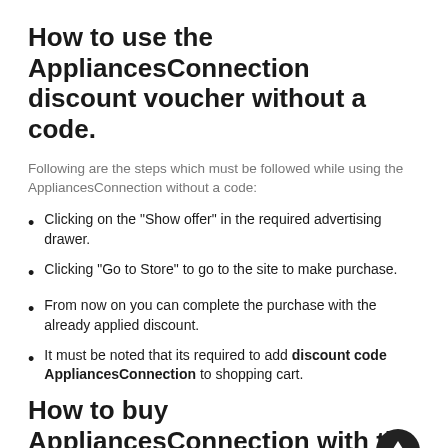How to use the AppliancesConnection discount voucher without a code.
Following are the steps which must be followed while using the AppliancesConnection without a code:
Clicking on the "Show offer" in the required advertising drawer.
Clicking "Go to Store" to go to the site to make purchase.
From now on you can complete the purchase with the already applied discount.
It must be noted that its required to add discount code AppliancesConnection to shopping cart.
How to buy AppliancesConnection with the greatest savings.